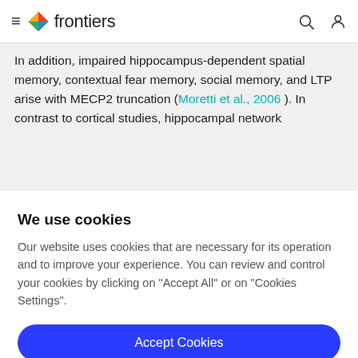frontiers
In addition, impaired hippocampus-dependent spatial memory, contextual fear memory, social memory, and LTP arise with MECP2 truncation (Moretti et al., 2006 ). In contrast to cortical studies, hippocampal network
We use cookies
Our website uses cookies that are necessary for its operation and to improve your experience. You can review and control your cookies by clicking on "Accept All" or on "Cookies Settings".
Accept Cookies
Cookies Settings